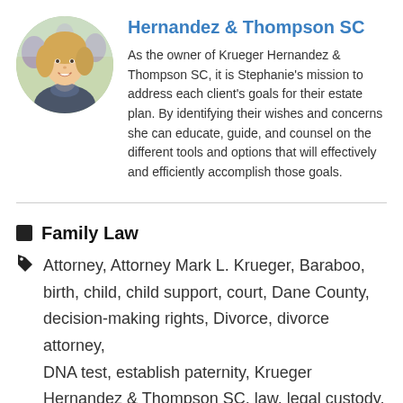[Figure (photo): Circular headshot photo of a smiling blonde woman outdoors with purple flowers in the background]
Hernandez & Thompson SC
As the owner of Krueger Hernandez & Thompson SC, it is Stephanie's mission to address each client's goals for their estate plan. By identifying their wishes and concerns she can educate, guide, and counsel on the different tools and options that will effectively and efficiently accomplish those goals.
Family Law
Attorney, Attorney Mark L. Krueger, Baraboo, birth, child, child support, court, Dane County, decision-making rights, Divorce, divorce attorney, DNA test, establish paternity, Krueger Hernandez & Thompson SC, law, legal custody,